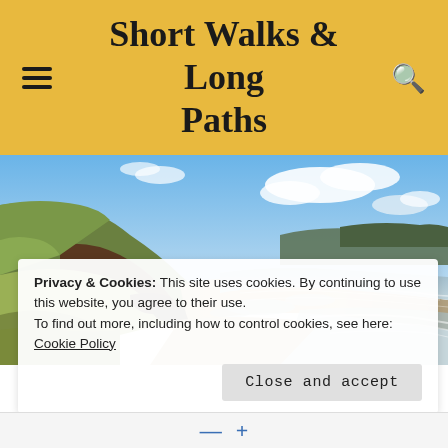Short Walks & Long Paths
[Figure (photo): Coastal landscape photograph showing steep cliffs covered with grass and rocky outcroppings on the left, a sandy beach with shallow water pools in the middle, ocean waves on the right, and a partly cloudy blue sky above.]
Privacy & Cookies: This site uses cookies. By continuing to use this website, you agree to their use.
To find out more, including how to control cookies, see here: Cookie Policy
Close and accept